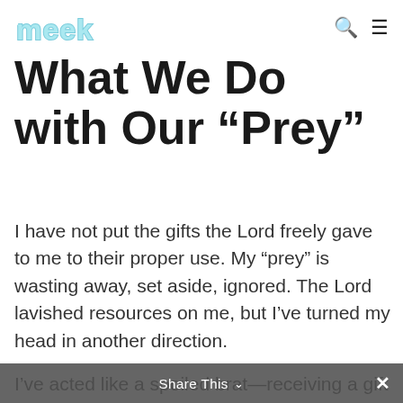meek
What We Do with Our “Prey”
I have not put the gifts the Lord freely gave to me to their proper use. My “prey” is wasting away, set aside, ignored. The Lord lavished resources on me, but I’ve turned my head in another direction.
I’ve acted like a spoiled brat—receiving a gift of great value, but setting it aside after the excitement of something new wore off. I’ve been chasing after the next gift or looking around at the gifts bestowed upon
Share This ▾ ×